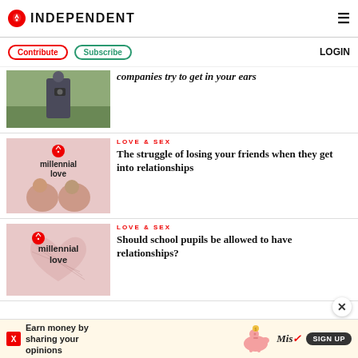INDEPENDENT
Contribute  Subscribe  LOGIN
[Figure (photo): Person outdoors in park holding camera]
companies try to get in your ears
[Figure (illustration): Millennial love logo with two young women laughing]
LOVE & SEX
The struggle of losing your friends when they get into relationships
[Figure (illustration): Millennial love logo with heart graphic]
LOVE & SEX
Should school pupils be allowed to have relationships?
[Figure (other): Advertisement: Earn money by sharing your opinions - Miss Rewards SIGN UP]